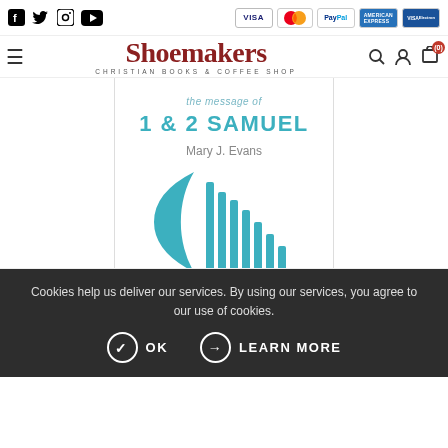Shoemakers Christian Books & Coffee Shop — with social icons (Facebook, Twitter, Instagram, YouTube) and payment badges (VISA, MasterCard, PayPal, American Express, VISA Electron)
[Figure (screenshot): Book cover for 'The Message of 1 & 2 Samuel' by Mary J. Evans, with teal title text and abstract teal arc/bar design]
Cookies help us deliver our services. By using our services, you agree to our use of cookies.
OK    LEARN MORE